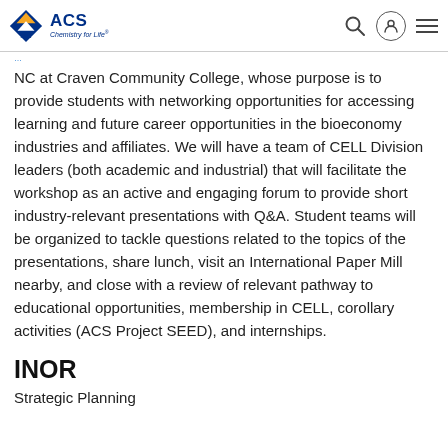ACS Chemistry for Life
NC at Craven Community College, whose purpose is to provide students with networking opportunities for accessing learning and future career opportunities in the bioeconomy industries and affiliates. We will have a team of CELL Division leaders (both academic and industrial) that will facilitate the workshop as an active and engaging forum to provide short industry-relevant presentations with Q&A. Student teams will be organized to tackle questions related to the topics of the presentations, share lunch, visit an International Paper Mill nearby, and close with a review of relevant pathway to educational opportunities, membership in CELL, corollary activities (ACS Project SEED), and internships.
INOR
Strategic Planning